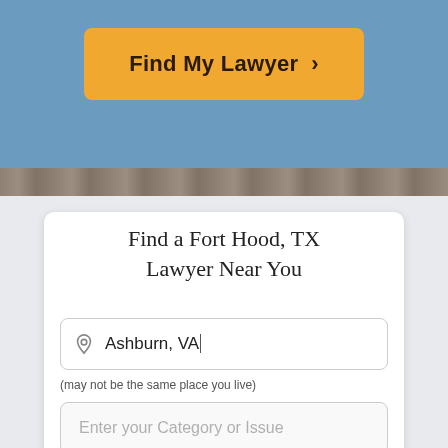[Figure (screenshot): Blue header background with orange 'Find My Lawyer >' button and wood-grain strip below]
Find a Fort Hood, TX Lawyer Near You
Ashburn, VA|
(may not be the same place you live)
Enter your Category or Issue
Can't find a category? Click here
GET STARTED >
Are You an Attorney? Grow Your Practice